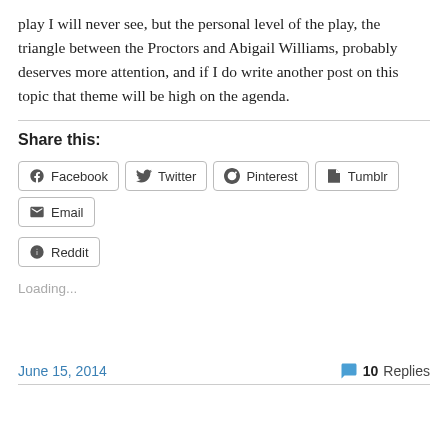play I will never see, but the personal level of the play, the triangle between the Proctors and Abigail Williams, probably deserves more attention, and if I do write another post on this topic that theme will be high on the agenda.
Share this:
Facebook  Twitter  Pinterest  Tumblr  Email  Reddit
Loading...
June 15, 2014
10 Replies